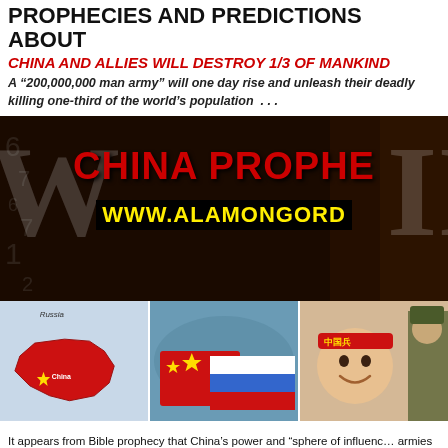PROPHECIES AND PREDICTIONS ABOUT
CHINA AND ALLIES WILL DESTROY 1/3 OF MANKIND
A “200,000,000 man army” will one day rise and unleash their deadly killing one-third of the world’s population . . .
[Figure (photo): Composite banner image: large white WWII-style letters with red 'CHINA PROPHE' text overlay and yellow 'WWW.ALAMONGORD' URL on black background; below: three photo panels showing a China map, Chinese and Russian flags intertwined, and a smiling baby with Chinese headband]
It appears from Bible prophecy that China’s power and “sphere of influenc armies will continue to grow. “The kings from the East” . . . the Bible warns